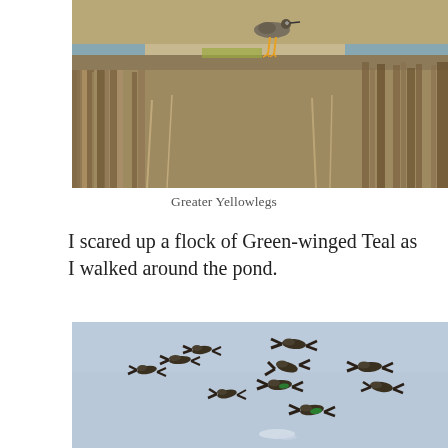[Figure (photo): Greater Yellowlegs bird standing at the edge of a wetland pond with dry reeds and vegetation in the background]
Greater Yellowlegs
I scared up a flock of Green-winged Teal as I walked around the pond.
[Figure (photo): A flock of Green-winged Teal ducks in flight against a pale blue sky]